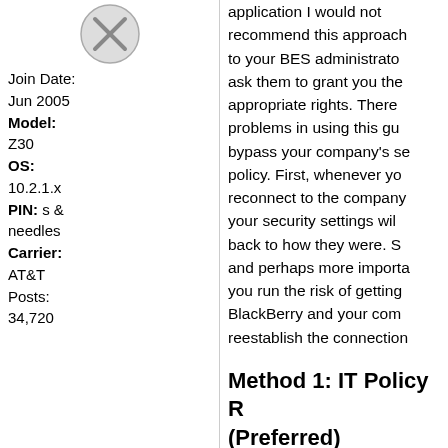[Figure (illustration): Circular avatar/profile icon with an X mark]
Join Date: Jun 2005
Model: Z30
OS: 10.2.1.x
PIN: s & needles
Carrier: AT&T
Posts: 34,720
application I would not recommend this approach to your BES administrator ask them to grant you the appropriate rights. There problems in using this guide bypass your company's security policy. First, whenever you reconnect to the company your security settings will back to how they were. S and perhaps more importantly you run the risk of getting BlackBerry and your company reestablish the connection
Method 1: IT Policy R (Preferred)
The preferred method for higher (if possible) and using resettofactory command t Manager (or any BB OS) Application Permission se backup the device using D